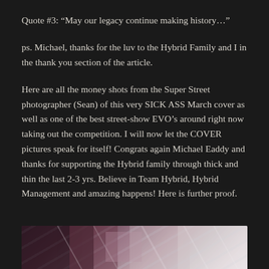Quote #3: “May our legacy continue making history…”
ps. Michael, thanks for the luv to the Hybrid Family and I in the thank you section of the article.
Here are all the money shots from the Super Street photographer (Sean) of this very SICK ASS March cover as well as one of the best street-show EVO’s around right now taking out the competition. I will now let the COVER pictures speak for itself! Congrats again Michael Eaddy and thanks for supporting the Hybrid family through thick and thin the last 2-3 yrs. Believe in Team Hybrid, Hybrid Management and amazing happens! Here is further proof.
[Figure (photo): Partial photo of a car or vehicle scene, cropped at the bottom of the page, showing blurred motion and pink/grey tones]